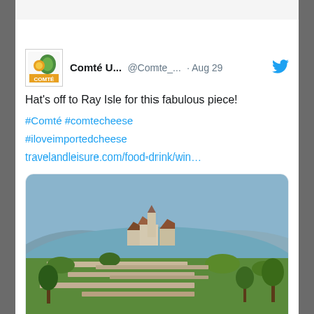[Figure (screenshot): Twitter/social media post from Comté U... (@Comte_...) dated Aug 29, showing a tweet with hashtags and a linked article card with an image of a French hilltop village]
Comté U... @Comte_... · Aug 29
Hat's off to Ray Isle for this fabulous piece!
#Comté #comtecheese #iloveimportedcheese travelandleisure.com/food-drink/win…
[Figure (photo): Aerial/elevated view of a medieval French hilltop village with stone walls and green terraces, mountains in background]
travelandleisure.com
This French Region Is the Wine World's Best-kept Secret